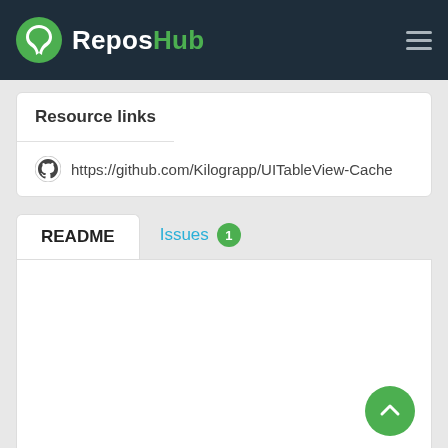ReposHub
Resource links
https://github.com/Kilograpp/UITableView-Cache
README
Issues 1